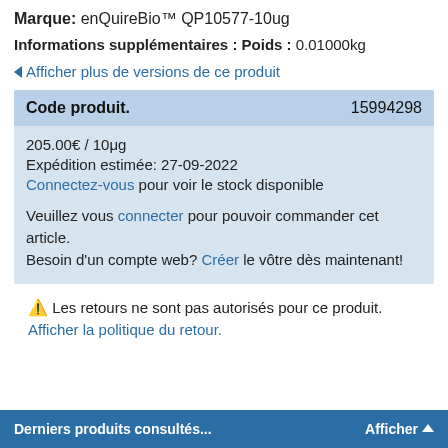Marque: enQuireBio™ QP10577-10ug
Informations supplémentaires : Poids : 0.01000kg
◄ Afficher plus de versions de ce produit
| Code produit. | 15994298 |
| --- | --- |
| 205.00€ / 10μg |  |
| Expédition estimée: 27-09-2022 |  |
| Connectez-vous pour voir le stock disponible |  |
| Veuillez vous connecter pour pouvoir commander cet article. Besoin d'un compte web? Créer le vôtre dès maintenant! |  |
⚠ Les retours ne sont pas autorisés pour ce produit. Afficher la politique du retour.
Derniers produits consultés...    Afficher ▲